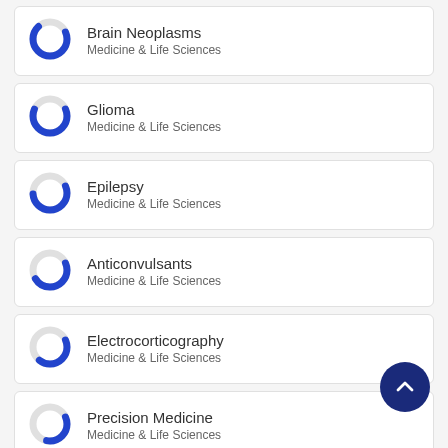Brain Neoplasms — Medicine & Life Sciences
Glioma — Medicine & Life Sciences
Epilepsy — Medicine & Life Sciences
Anticonvulsants — Medicine & Life Sciences
Electrocorticography — Medicine & Life Sciences
Precision Medicine — Medicine & Life Sciences
Genetic Markers — Medicine & Life Sciences
[Figure (other): Back-to-top navigation button (dark blue circle with upward chevron arrow)]